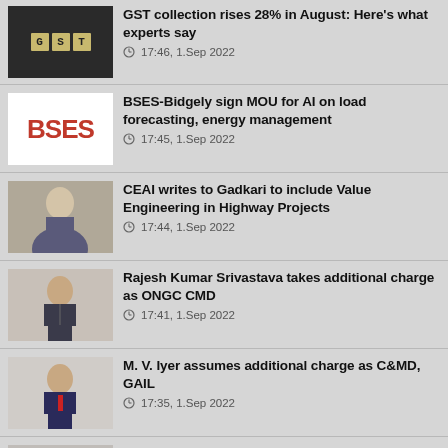GST collection rises 28% in August: Here's what experts say
BSES-Bidgely sign MOU for AI on load forecasting, energy management
CEAI writes to Gadkari to include Value Engineering in Highway Projects
Rajesh Kumar Srivastava takes additional charge as ONGC CMD
M. V. Iyer assumes additional charge as C&MD, GAIL
Y.K. Chaubey takes over as CMD, NHPC